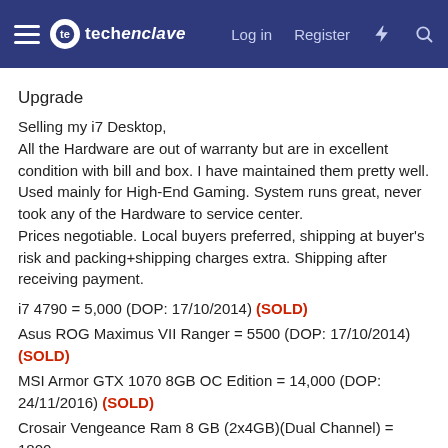techenclave | Log in | Register
Upgrade
Selling my i7 Desktop,
All the Hardware are out of warranty but are in excellent condition with bill and box. I have maintained them pretty well. Used mainly for High-End Gaming. System runs great, never took any of the Hardware to service center.
Prices negotiable. Local buyers preferred, shipping at buyer's risk and packing+shipping charges extra. Shipping after receiving payment.
i7 4790 = 5,000 (DOP: 17/10/2014) (SOLD)
Asus ROG Maximus VII Ranger = 5500 (DOP: 17/10/2014) (SOLD)
MSI Armor GTX 1070 8GB OC Edition = 14,000 (DOP: 24/11/2016) (SOLD)
Crosair Vengeance Ram 8 GB (2x4GB)(Dual Channel) = 1800